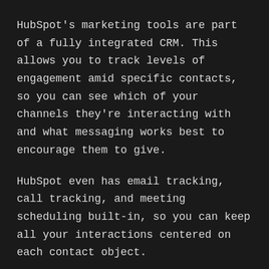HubSpot's marketing tools are part of a fully integrated CRM. This allows you to track levels of engagement amid specific contacts, so you can see which of your channels they're interacting with and what messaging works best to encourage them to give.
HubSpot even has email tracking, call tracking, and meeting scheduling built-in, so you can keep all your interactions centered on each contact object.
This is essential for implementing a Moves Management Model as part of your donor campaign. This involves taking targeted and quantifiable actions to shift contacts from passive donors to active ones. HubSpot